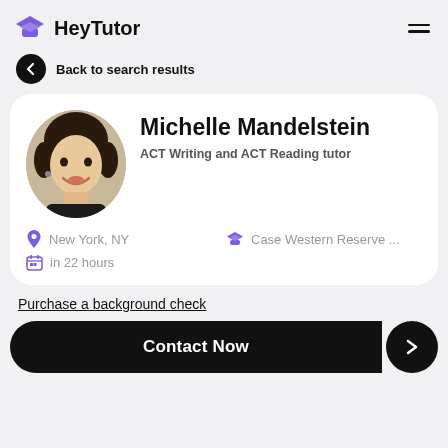HeyTutor
Back to search results
[Figure (photo): Profile photo of Michelle Mandelstein, a woman with short dark hair smiling]
Michelle Mandelstein
ACT Writing and ACT Reading tutor
New York, NY
Case Western Reserve ...
in 22 hours
Purchase a background check
Contact Now